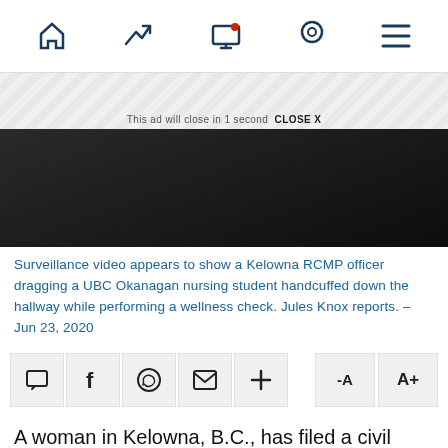Navigation bar with home, trending, screen, location, and menu icons
[Figure (screenshot): Dark video thumbnail showing a dimly lit hallway scene]
Surveillance video appears to show a Kelowna RCMP officer dragging a UBC Okanagan nursing student handcuffed down the hallway while performing a wellness check. Jules Knox reports. – Jun 23, 2020
[Figure (infographic): Social sharing toolbar with comment, Facebook, WhatsApp, email, plus, font decrease (-A) and font increase (A+) buttons]
A woman in Kelowna, B.C., has filed a civil claim against the RCMP for how she was allegedly